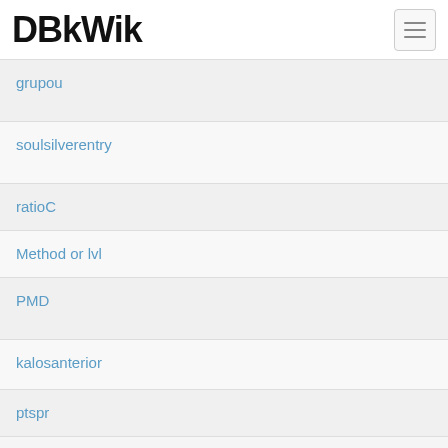DBkWik
grupou
soulsilverentry
ratioC
Method or lvl
PMD
kalosanterior
ptspr